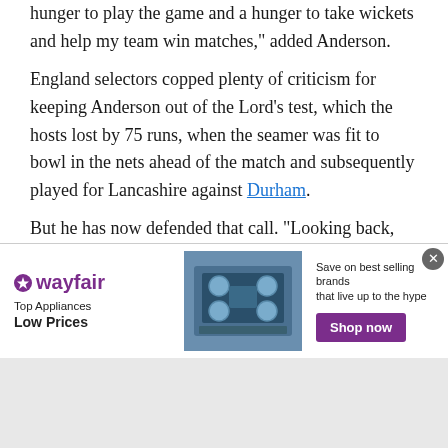hunger to play the game and a hunger to take wickets and help my team win matches," added Anderson.
England selectors copped plenty of criticism for keeping Anderson out of the Lord's test, which the hosts lost by 75 runs, when the seamer was fit to bowl in the nets ahead of the match and subsequently played for Lancashire against Durham.
But he has now defended that call. “Looking back, without having had any game time before that first Test, it was probably wise to get some overs under my belt,” Anderson said. “I think it was probably the right decision.”
[Figure (other): Wayfair advertisement banner: Top Appliances Low Prices with an image of kitchen appliances and a Shop now button on purple background]